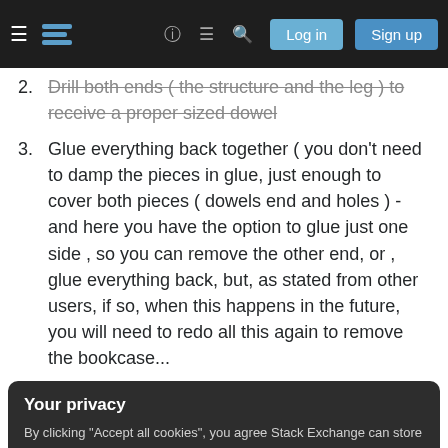Stack Exchange navigation bar with hamburger menu, logo, help, chat, search icons, Log in and Sign up buttons
2. Drill both ends ( the structure and the leg ) to receive a proper sized dowel
3. Glue everything back together ( you don't need to damp the pieces in glue, just enough to cover both pieces ( dowels end and holes ) - and here you have the option to glue just one side , so you can remove the other end, or , glue everything back, but, as stated from other users, if so, when this happens in the future, you will need to redo all this again to remove the bookcase...
Your privacy
By clicking "Accept all cookies", you agree Stack Exchange can store cookies on your device and disclose information in accordance with our Cookie Policy.
Accept all cookies
Customize settings